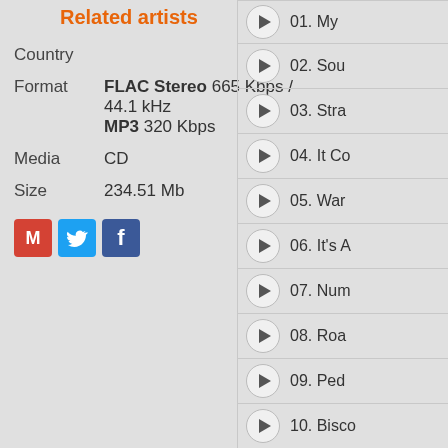Related artists
Country
Format   FLAC Stereo 665 Kbps / 44.1 kHz   MP3 320 Kbps
Media   CD
Size   234.51 Mb
[Figure (other): Social share icons: Gmail (red M), Twitter (blue bird), Facebook (blue f)]
01. My
02. Sou
03. Stra
04. It Co
05. War
06. It's A
07. Num
08. Roa
09. Ped
10. Bisco